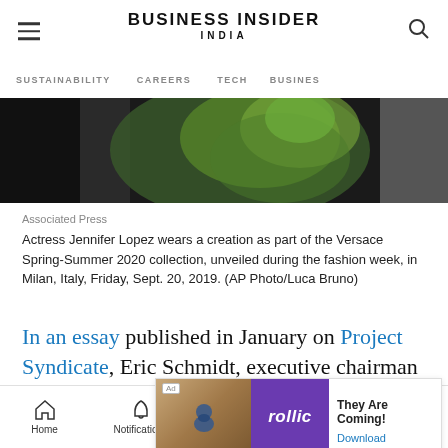BUSINESS INSIDER INDIA
SUSTAINABILITY   CAREERS   TECH   BUSINESS
[Figure (photo): Partial view of a person (Jennifer Lopez) wearing a green Versace creation at fashion week]
Associated Press
Actress Jennifer Lopez wears a creation as part of the Versace Spring-Summer 2020 collection, unveiled during the fashion week, in Milan, Italy, Friday, Sept. 20, 2019. (AP Photo/Luca Bruno)
In an essay published in January on Project Syndicate, Eric Schmidt, executive chairman of Google, … popul… we
[Figure (screenshot): Advertisement overlay: Rollic game ad with 'They Are Coming!' text and Download button]
Home   Notifications   Newsletters   Next   Share